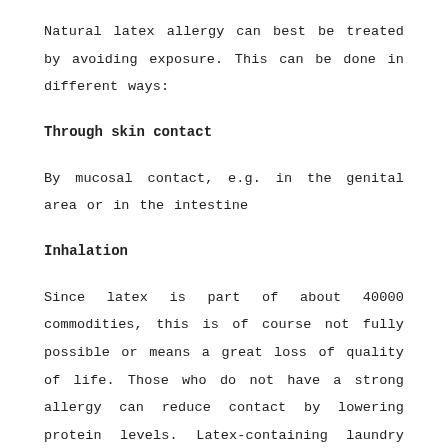Natural latex allergy can best be treated by avoiding exposure. This can be done in different ways:
Through skin contact
By mucosal contact, e.g. in the genital area or in the intestine
Inhalation
Since latex is part of about 40000 commodities, this is of course not fully possible or means a great loss of quality of life. Those who do not have a strong allergy can reduce contact by lowering protein levels. Latex-containing laundry should be washed and ironed before first use; Items should be soaked in detergent solution for a long